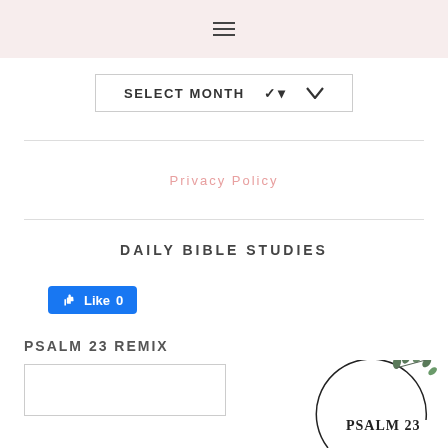[Figure (other): Hamburger menu icon (three horizontal lines) on a light pink background header bar]
SELECT MONTH ˅
Privacy Policy
DAILY BIBLE STUDIES
[Figure (other): Facebook Like button showing thumbs up icon and Like 0]
PSALM 23 REMIX
[Figure (illustration): Circular logo with text PSALM 23 inside and a botanical leaf/wreath design at top right]